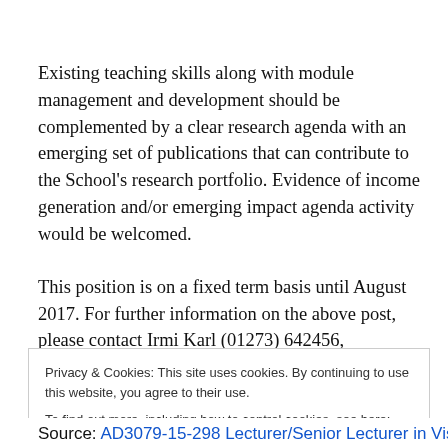Existing teaching skills along with module management and development should be complemented by a clear research agenda with an emerging set of publications that can contribute to the School's research portfolio. Evidence of income generation and/or emerging impact agenda activity would be welcomed.
This position is on a fixed term basis until August 2017. For further information on the above post, please contact Irmi Karl (01273) 642456, I.Karl@Brighton.ac.uk
Privacy & Cookies: This site uses cookies. By continuing to use this website, you agree to their use. To find out more, including how to control cookies, see here: Cookie Policy
Source: AD3079-15-298 Lecturer/Senior Lecturer in Visual